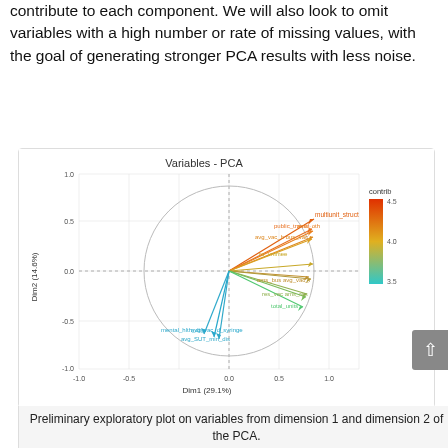contribute to each component. We will also look to omit variables with a high number or rate of missing values, with the goal of generating stronger PCA results with less noise.
[Figure (continuous-plot): Variables PCA biplot showing variable vectors on Dim1 (29.1%) vs Dim2 (14.6%). Variables colored by contribution (contrib) from ~3.5 (teal) to ~4.5 (orange/red). Variables clustered near positive Dim1 axis (multiunit_struct, public_transit, ams_oth, avg_vac_b, bus_vac, ro_vmmee, ams_bus, avg_vac_r, res_vac, ams_res, total_units) and two pointing downward-left (mental_hlth_dis, avg_vac_d_syringe, avg_SUT_min_dis). Circle boundary at radius 1.]
Preliminary exploratory plot on variables from dimension 1 and dimension 2 of the PCA.